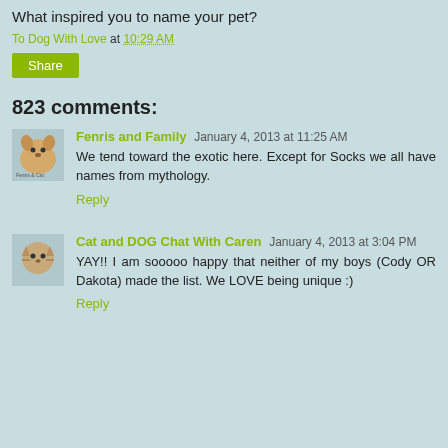What inspired you to name your pet?
To Dog With Love at 10:29 AM
Share
823 comments:
Fenris and Family January 4, 2013 at 11:25 AM
We tend toward the exotic here. Except for Socks we all have names from mythology.
Reply
Cat and DOG Chat With Caren January 4, 2013 at 3:04 PM
YAY!! I am sooooo happy that neither of my boys (Cody OR Dakota) made the list. We LOVE being unique :)
Reply